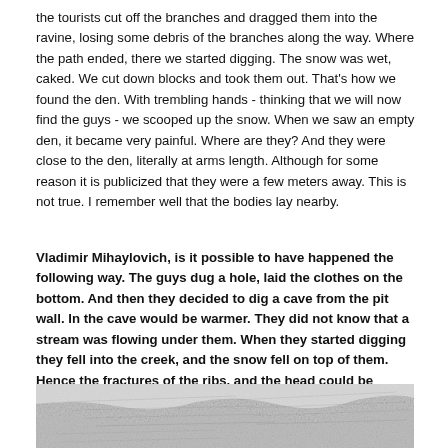the tourists cut off the branches and dragged them into the ravine, losing some debris of the branches along the way. Where the path ended, there we started digging. The snow was wet, caked. We cut down blocks and took them out. That's how we found the den. With trembling hands - thinking that we will now find the guys - we scooped up the snow. When we saw an empty den, it became very painful. Where are they? And they were close to the den, literally at arms length. Although for some reason it is publicized that they were a few meters away. This is not true. I remember well that the bodies lay nearby.
Vladimir Mihaylovich, is it possible to have happened the following way. The guys dug a hole, laid the clothes on the bottom. And then they decided to dig a cave from the pit wall. In the cave would be warmer. They did not know that a stream was flowing under them. When they started digging they fell into the creek, and the snow fell on top of them. Hence the fractures of the ribs, and the head could be broken by a stone underneath...
[Figure (photo): Black and white photograph showing a snow-covered surface with handwritten text visible, partially obscured.]